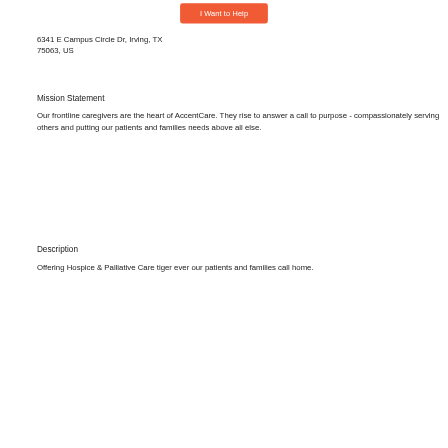[Figure (other): Orange/coral rounded rectangle button labeled 'I Want to Help']
6341 E Campus Circle Dr, Irving, TX 75063, US
Mission Statement
Our frontline caregivers are the heart of AccentCare. They rise to answer a call to purpose - compassionately serving others and putting our patients and families needs above all else.
Description
Offering Hospice & Palliative Care tiger ever our patients and families call home.